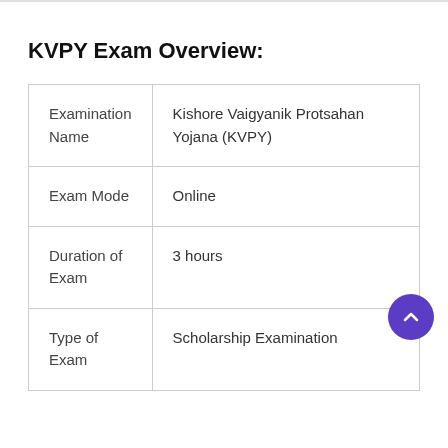KVPY Exam Overview:
|  |  |
| --- | --- |
| Examination Name | Kishore Vaigyanik Protsahan Yojana (KVPY) |
| Exam Mode | Online |
| Duration of Exam | 3 hours |
| Type of Exam | Scholarship Examination |